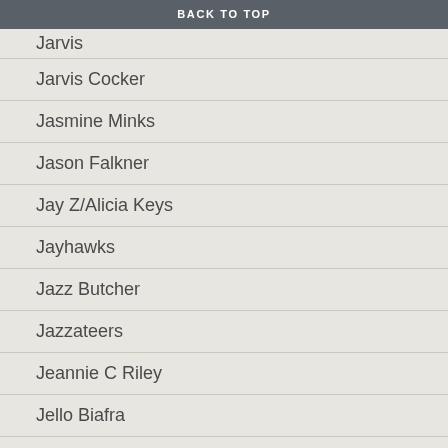BACK TO TOP
Jarvis
Jarvis Cocker
Jasmine Minks
Jason Falkner
Jay Z/Alicia Keys
Jayhawks
Jazz Butcher
Jazzateers
Jeannie C Riley
Jello Biafra
Jenny Lewis and The Watson Twins
Jens Lekman
Jeremy Days